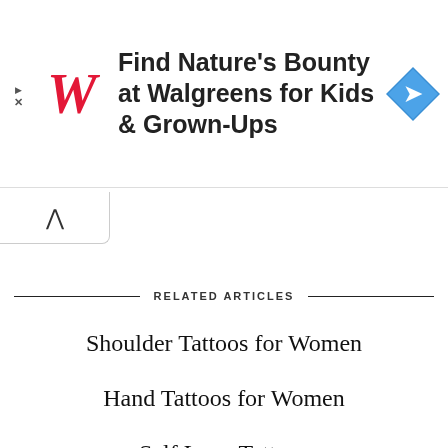[Figure (other): Walgreens advertisement banner: Walgreens red italic W logo, text 'Find Nature’s Bounty at Walgreens for Kids & Grown-Ups', blue diamond navigation arrow icon on the right]
RELATED ARTICLES
Shoulder Tattoos for Women
Hand Tattoos for Women
Self Love Tattoos